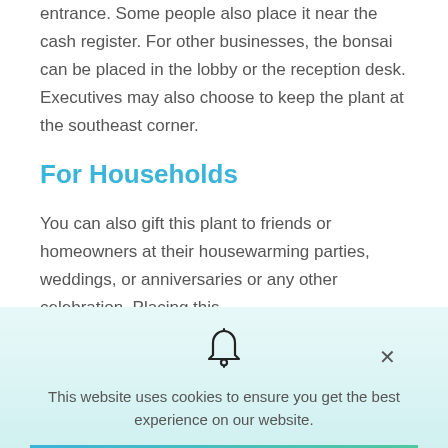entrance. Some people also place it near the cash register. For other businesses, the bonsai can be placed in the lobby or the reception desk. Executives may also choose to keep the plant at the southeast corner.
For Households
You can also gift this plant to friends or homeowners at their housewarming parties, weddings, or anniversaries or any other celebration. Placing this
This website uses cookies to ensure you get the best experience on our website.